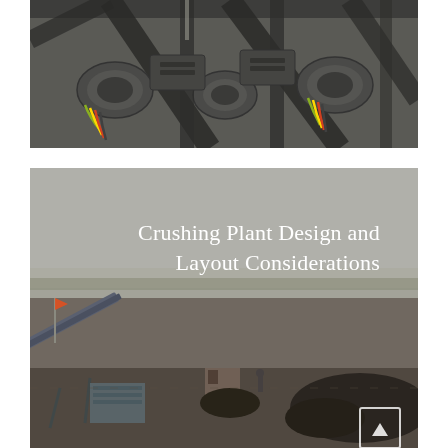[Figure (photo): Aerial/overhead view of industrial crushing plant machinery with electric motors, conveyor frames, and wiring visible in a dark industrial setting]
[Figure (photo): Outdoor ground-level photo of a crushing plant site showing conveyor belts, stockpiles of aggregate material, flat open land, and a person visible near the equipment. White text overlay reads 'Crushing Plant Design and Layout Considerations'.]